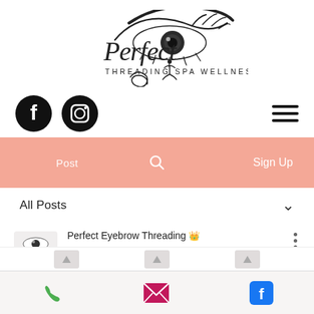[Figure (logo): Perfect Threading Spa & Wellness logo with stylized eye and script text]
[Figure (infographic): Navigation bar with Facebook and Instagram social icons on left, hamburger menu on right]
[Figure (infographic): Salmon/peach colored navigation bar with Post, search icon, and Sign Up options]
All Posts
Perfect Eyebrow Threading 👑
May 9, 2018  •  3 min
[Figure (infographic): Bottom mobile bar with phone (green), email (pink/red), and Facebook (blue) icons]